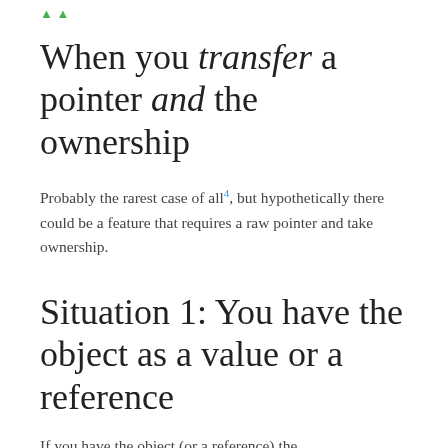When you transfer a pointer and the ownership
Probably the rarest case of all4, but hypothetically there could be a feature that requires a raw pointer and take ownership.
Situation 1: You have the object as a value or a reference
If you have the object (or a reference) the...